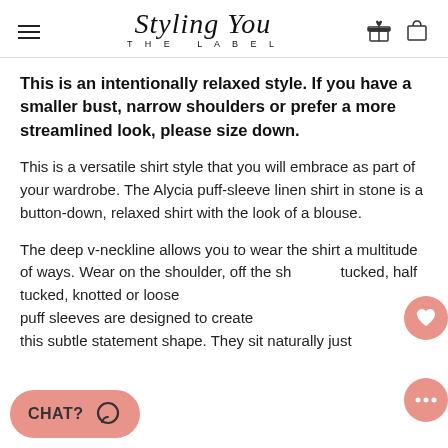Styling You THE LABEL
This is an intentionally relaxed style. If you have a smaller bust, narrow shoulders or prefer a more streamlined look, please size down.
This is a versatile shirt style that you will embrace as part of your wardrobe. The Alycia puff-sleeve linen shirt in stone is a button-down, relaxed shirt with the look of a blouse.
The deep v-neckline allows you to wear the shirt a multitude of ways. Wear on the shoulder, off the shoulder, tucked, half tucked, knotted or loose fitting. The puff sleeves are designed to create this subtle statement shape. They sit naturally just